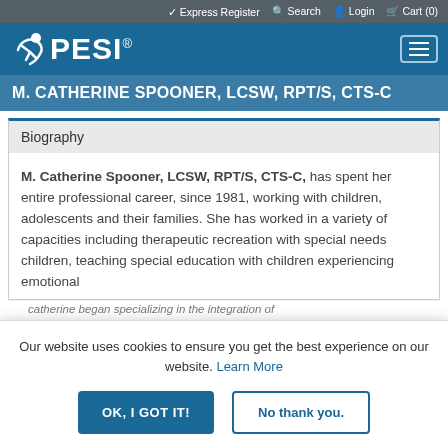✓ Express Register  🔍 Search  👤 Login  🛒 Cart (0)
[Figure (logo): PESI logo with stylized figure and registered trademark symbol on dark blue background]
M. CATHERINE SPOONER, LCSW, RPT/S, CTS-C
Biography
M. Catherine Spooner, LCSW, RPT/S, CTS-C, has spent her entire professional career, since 1981, working with children, adolescents and their families. She has worked in a variety of capacities including therapeutic recreation with special needs children, teaching special education with children experiencing emotional
Our website uses cookies to ensure you get the best experience on our website. Learn More
OK, I GOT IT!   No thank you.
catherine began specializing in the integration of